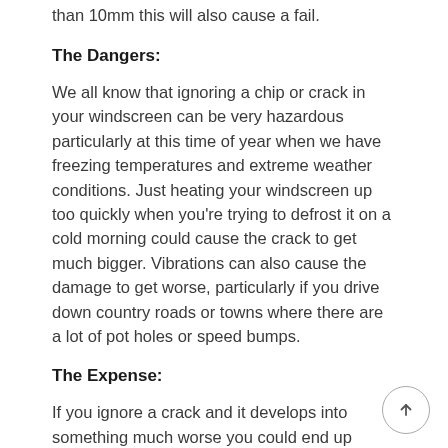than 10mm this will also cause a fail.
The Dangers:
We all know that ignoring a chip or crack in your windscreen can be very hazardous particularly at this time of year when we have freezing temperatures and extreme weather conditions. Just heating your windscreen up too quickly when you're trying to defrost it on a cold morning could cause the crack to get much bigger. Vibrations can also cause the damage to get worse, particularly if you drive down country roads or towns where there are a lot of pot holes or speed bumps.
The Expense:
If you ignore a crack and it develops into something much worse you could end up having to have your whole windscreen replaced, resulting in more cost to you. Chips and cracks that are smaller than 40mm can